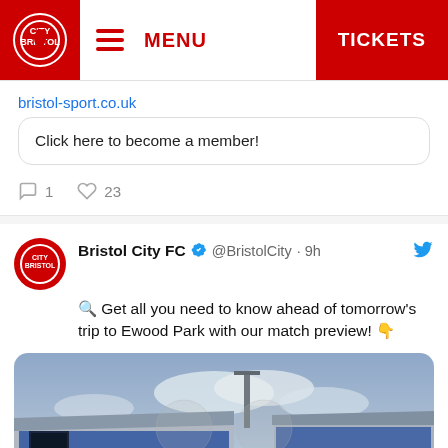MENU | TICKETS
bristol-sport.co.uk
Click here to become a member!
1 comment · 23 likes
Bristol City FC @BristolCity · 9h
🔍 Get all you need to know ahead of tomorrow's trip to Ewood Park with our match preview! 👇
[Figure (photo): Photo of Ewood Park stadium interior with blue seats and floodlights, overlaid with text reading PREVIEW and Blackburn Rovers in red script, with two club badge watermarks visible]